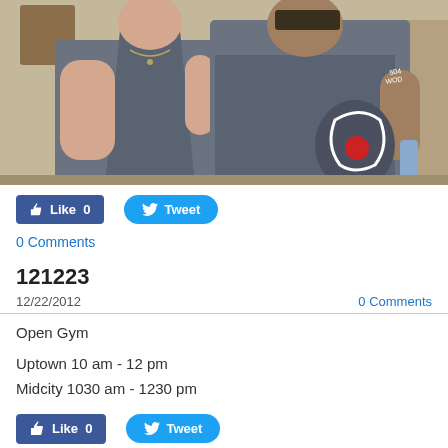[Figure (photo): Two people posing for a photo indoors at what appears to be a gym or fitness event. A woman in a grey spaghetti-strap dress and a man in a grey CrossFit t-shirt stand together. Background shows other people and gym equipment.]
Like 0
Tweet
0 Comments
121223
12/22/2012
0 Comments
Open Gym
Uptown 10 am - 12 pm
Midcity 1030 am - 1230 pm